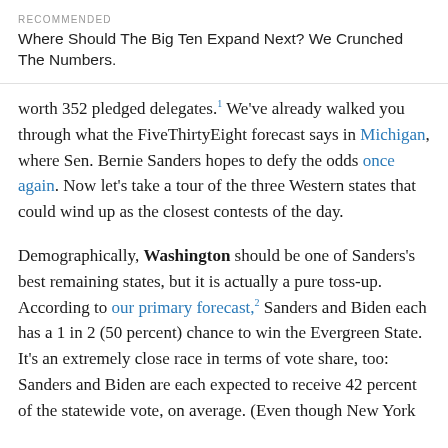RECOMMENDED
Where Should The Big Ten Expand Next? We Crunched The Numbers.
worth 352 pledged delegates.¹ We've already walked you through what the FiveThirtyEight forecast says in Michigan, where Sen. Bernie Sanders hopes to defy the odds once again. Now let's take a tour of the three Western states that could wind up as the closest contests of the day.
Demographically, Washington should be one of Sanders's best remaining states, but it is actually a pure toss-up. According to our primary forecast,² Sanders and Biden each has a 1 in 2 (50 percent) chance to win the Evergreen State. It's an extremely close race in terms of vote share, too: Sanders and Biden are each expected to receive 42 percent of the statewide vote, on average. (Even though New York